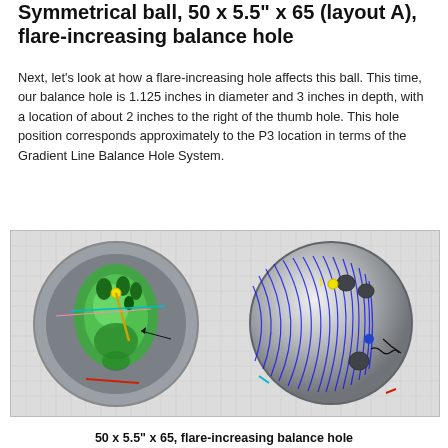Symmetrical ball, 50 x 5.5" x 65 (layout A), flare-increasing balance hole
Next, let's look at how a flare-increasing hole affects this ball. This time, our balance hole is 1.125 inches in diameter and 3 inches in depth, with a location of about 2 inches to the right of the thumb hole. This hole position corresponds approximately to the P3 location in terms of the Gradient Line Balance Hole System.
[Figure (illustration): Two 3D renderings of a bowling ball side by side. Left image shows a cross-section view revealing the inner core (green) with finger holes, thumb hole, and a balance hole inserted, plus colored orientation lines. Right image shows the exterior of the ball with blue flare lines drawn across the surface, showing the track flare pattern, with finger holes, thumb hole, and balance hole visible.]
50 x 5.5" x 65, flare-increasing balance hole